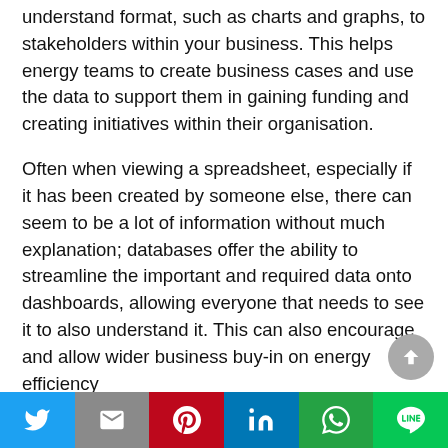understand format, such as charts and graphs, to stakeholders within your business. This helps energy teams to create business cases and use the data to support them in gaining funding and creating initiatives within their organisation.
Often when viewing a spreadsheet, especially if it has been created by someone else, there can seem to be a lot of information without much explanation; databases offer the ability to streamline the important and required data onto dashboards, allowing everyone that needs to see it to also understand it. This can also encourage and allow wider business buy-in on energy efficiency